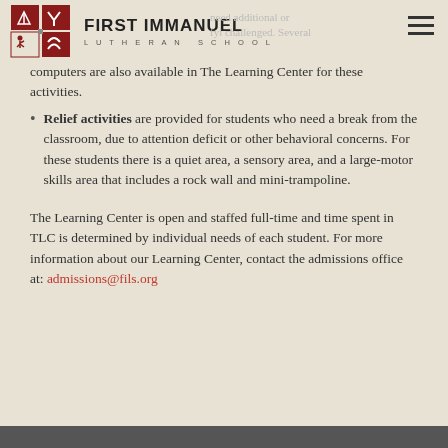FIRST IMMANUEL LUTHERAN SCHOOL
computers are also available in The Learning Center for these activities.
Relief activities are provided for students who need a break from the classroom, due to attention deficit or other behavioral concerns. For these students there is a quiet area, a sensory area, and a large-motor skills area that includes a rock wall and mini-trampoline.
The Learning Center is open and staffed full-time and time spent in TLC is determined by individual needs of each student. For more information about our Learning Center, contact the admissions office at: admissions@fils.org